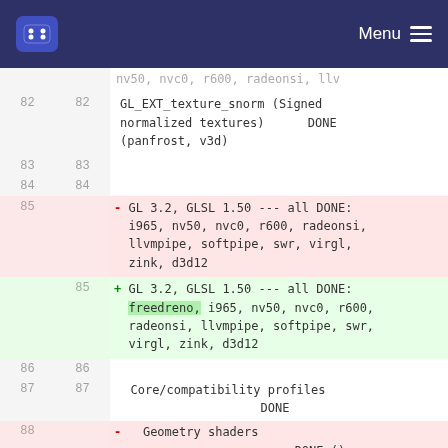Menu
| old | new | content |
| --- | --- | --- |
|  |  | nv50, nvc0, r600, radeonsi, llv (partial/truncated) |
| 82 | 82 | GL_EXT_texture_snorm (Signed normalized textures)      DONE (panfrost, v3d) |
| 83 | 83 |  |
| 84 | 84 |  |
| 85 |  | - GL 3.2, GLSL 1.50 --- all DONE: i965, nv50, nvc0, r600, radeonsi, llvmpipe, softpipe, swr, virgl, zink, d3d12 |
|  | 85 | + GL 3.2, GLSL 1.50 --- all DONE: freedreno, i965, nv50, nvc0, r600, radeonsi, llvmpipe, softpipe, swr, virgl, zink, d3d12 |
| 86 | 86 |  |
| 87 | 87 | Core/compatibility profiles                     DONE |
| 88 |  | - Geometry shaders                           DONE () |
| 89 |  | - GL_ARB_vertex_array_bgra (BGRA ... |